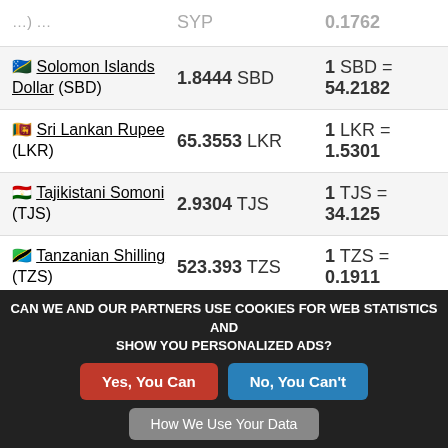| Currency | Amount | Rate |
| --- | --- | --- |
| Solomon Islands Dollar (SBD) | 1.8444 SBD | 1 SBD = 54.2182 |
| Sri Lankan Rupee (LKR) | 65.3553 LKR | 1 LKR = 1.5301 |
| Tajikistani Somoni (TJS) | 2.9304 TJS | 1 TJS = 34.125 |
| Tanzanian Shilling (TZS) | 523.393 TZS | 1 TZS = 0.1911 |
| New Taiwan Dollar (TWD) | 6.4815 TWD | 1 TWD = 15.4285 |
CAN WE AND OUR PARTNERS USE COOKIES FOR WEB STATISTICS AND SHOW YOU PERSONALIZED ADS? Yes, You Can  No, You Can't  How We Use Your Data